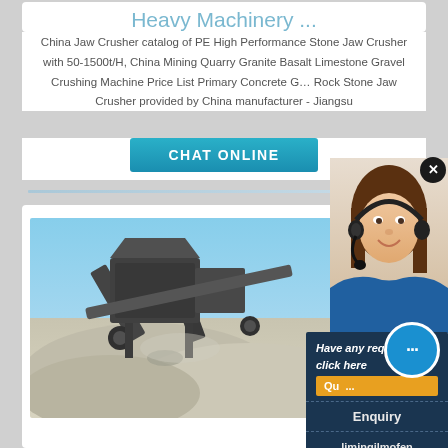Heavy Machinery ...
China Jaw Crusher catalog of PE High Performance Stone Jaw Crusher with 50-1500t/H, China Mining Quarry Granite Basalt Limestone Gravel Crushing Machine Price List Primary Concrete G… Rock Stone Jaw Crusher provided by China manufacturer - Jiangsu
CHAT ONLINE
[Figure (photo): Industrial stone jaw crusher / rock crushing machinery at a quarry site with piles of crushed gravel/stone in the foreground and blue sky in the background]
Have any requests, click here
Que...
Enquiry
limingjlmofen@sina.com